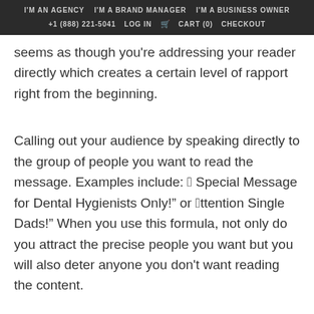I'M AN AGENCY   I'M A BRAND MANAGER   I'M A BUSINESS OWNER   +1 (888) 221-5041   LOG IN   CART (0)   CHECKOUT
seems as though you're addressing your reader directly which creates a certain level of rapport right from the beginning.
Calling out your audience by speaking directly to the group of people you want to read the message. Examples include: “A Special Message for Dental Hygienists Only!” or “Attention Single Dads!” When you use this formula, not only do you attract the precise people you want but you will also deter anyone you don’t want reading the content.